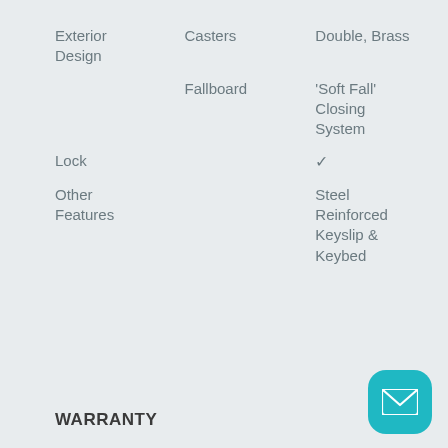| Exterior Design | Casters | Double, Brass |
|  | Fallboard | 'Soft Fall' Closing System |
| Lock |  | ✓ |
| Other Features |  | Steel Reinforced Keyslip & Keybed |
WARRANTY